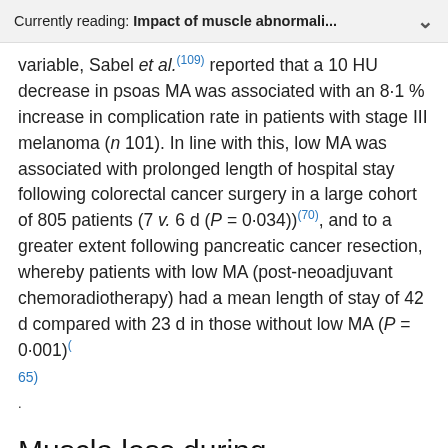Currently reading: Impact of muscle abnormali...
variable, Sabel et al.(109) reported that a 10 HU decrease in psoas MA was associated with an 8·1 % increase in complication rate in patients with stage III melanoma (n 101). In line with this, low MA was associated with prolonged length of hospital stay following colorectal cancer surgery in a large cohort of 805 patients (7 v. 6 d (P = 0·034))(70), and to a greater extent following pancreatic cancer resection, whereby patients with low MA (post-neoadjuvant chemoradiotherapy) had a mean length of stay of 42 d compared with 23 d in those without low MA (P = 0·001)(65).
Muscle loss during chemotherapy
The precision associated with CT analysis of body